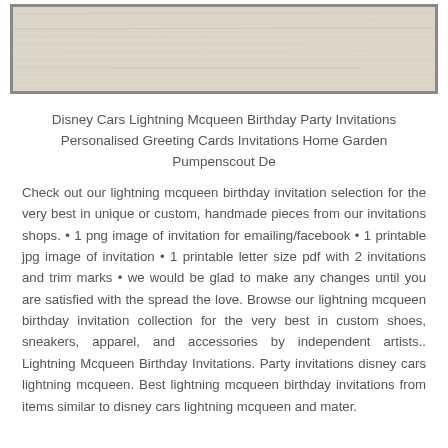[Figure (photo): Close-up photo of light-colored wood grain texture with horizontal lines, shown in a gray-bordered frame]
Disney Cars Lightning Mcqueen Birthday Party Invitations Personalised Greeting Cards Invitations Home Garden Pumpenscout De
Check out our lightning mcqueen birthday invitation selection for the very best in unique or custom, handmade pieces from our invitations shops. • 1 png image of invitation for emailing/facebook • 1 printable jpg image of invitation • 1 printable letter size pdf with 2 invitations and trim marks • we would be glad to make any changes until you are satisfied with the spread the love. Browse our lightning mcqueen birthday invitation collection for the very best in custom shoes, sneakers, apparel, and accessories by independent artists.. Lightning Mcqueen Birthday Invitations. Party invitations disney cars lightning mcqueen. Best lightning mcqueen birthday invitations from items similar to disney cars lightning mcqueen and mater.